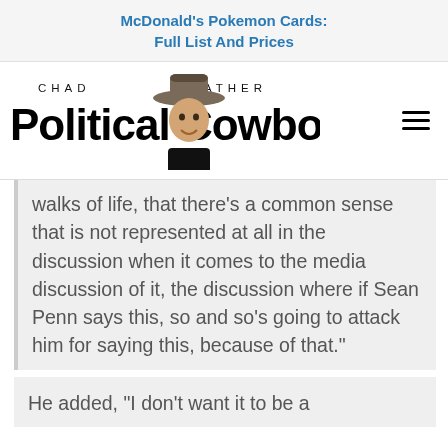McDonald's Pokemon Cards: Full List And Prices
[Figure (logo): Chad Prather Political Cowboy logo with photo of man in cowboy hat]
walks of life, that there’s a common sense that is not represented at all in the discussion when it comes to the media discussion of it, the discussion where if Sean Penn says this, so and so’s going to attack him for saying this, because of that.”
He added, “I don’t want it to be a